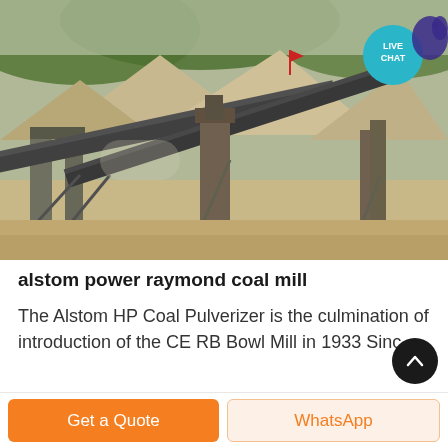[Figure (photo): Industrial mining/crushing facility with conveyor belts, large machinery structures, and stockpiles of aggregate material in background. A 'LIVE CHAT' badge in teal/cyan is overlaid in the upper right corner of the image.]
alstom power raymond coal mill
The Alstom HP Coal Pulverizer is the culmination of introduction of the CE RB Bowl Mill in 1933 Since